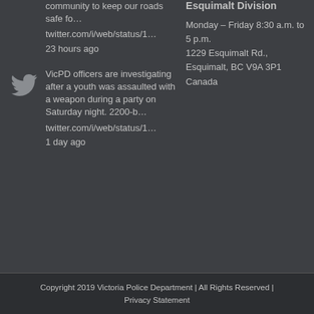community to keep our roads safe fo… twitter.com/i/web/status/1… 23 hours ago
VicPD officers are investigating after a youth was assaulted with a weapon during a party on Saturday night. 2200-b… twitter.com/i/web/status/1… 1 day ago
Esquimalt Division
Monday – Friday 8:30 a.m. to 5 p.m.
1229 Esquimalt Rd., Esquimalt, BC V9A 3P1 Canada
Copyright 2019 Victoria Police Department | All Rights Reserved | Privacy Statement